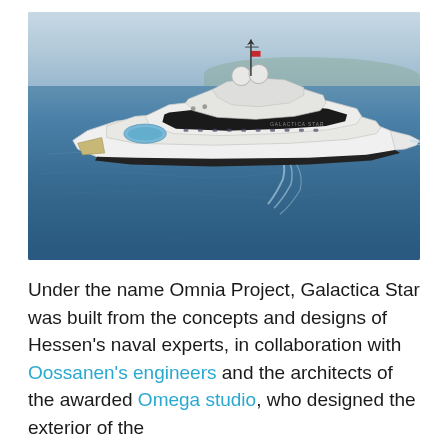[Figure (photo): Aerial view of the Galactica Star luxury superyacht sailing on blue open water, with hazy mountainous coastline in the background. The white yacht has multiple decks, radar equipment, and a swimming platform at the stern.]
Under the name Omnia Project, Galactica Star was built from the concepts and designs of Hessen's naval experts, in collaboration with Oossanen's engineers and the architects of the awarded Omega studio, who designed the exterior of the